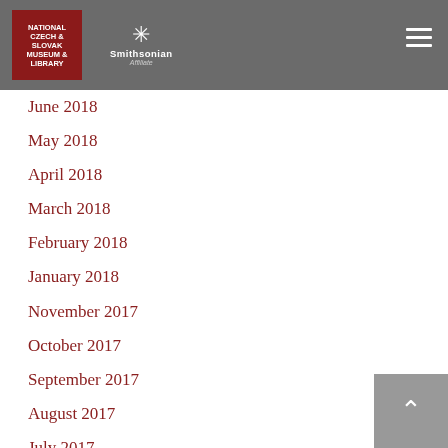National Czech & Slovak Museum & Library | Smithsonian Affiliate
June 2018
May 2018
April 2018
March 2018
February 2018
January 2018
November 2017
October 2017
September 2017
August 2017
July 2017
June 2017
May 2017